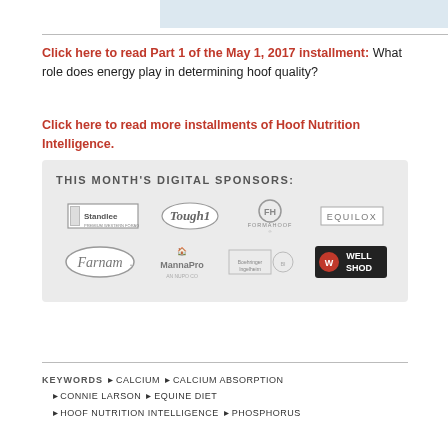[Figure (other): Light blue banner image at top of page]
Click here to read Part 1 of the May 1, 2017 installment: What role does energy play in determining hoof quality?
Click here to read more installments of Hoof Nutrition Intelligence.
[Figure (other): Sponsor box with logos: Standlee, Tough1, Formahoof, Equilox, Farnam, MannaPro, Boehringer Ingelheim, Well Shod]
KEYWORDS  ★ CALCIUM  ★ CALCIUM ABSORPTION  ★ CONNIE LARSON  ★ EQUINE DIET  ★ HOOF NUTRITION INTELLIGENCE  ★ PHOSPHORUS